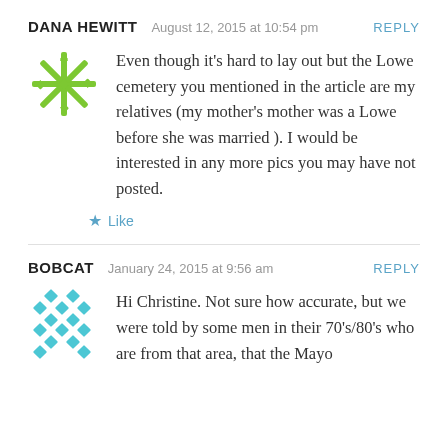DANA HEWITT  August 12, 2015 at 10:54 pm  REPLY
Even though it's hard to lay out but the Lowe cemetery you mentioned in the article are my relatives (my mother's mother was a Lowe before she was married ). I would be interested in any more pics you may have not posted.
Like
BOBCAT  January 24, 2015 at 9:56 am  REPLY
Hi Christine. Not sure how accurate, but we were told by some men in their 70's/80's who are from that area, that the Mayo